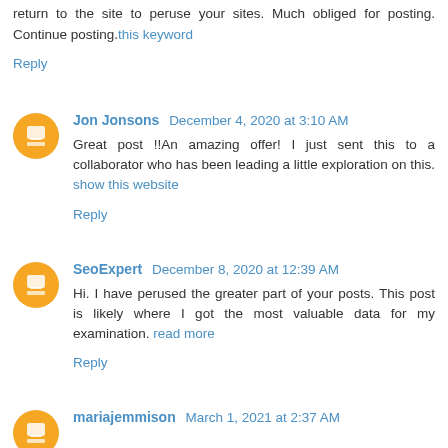return to the site to peruse your sites. Much obliged for posting. Continue posting. this keyword
Reply
Jon Jonsons December 4, 2020 at 3:10 AM
Great post !!An amazing offer! I just sent this to a collaborator who has been leading a little exploration on this. show this website
Reply
SeoExpert December 8, 2020 at 12:39 AM
Hi. I have perused the greater part of your posts. This post is likely where I got the most valuable data for my examination. read more
Reply
mariajemmison March 1, 2021 at 2:37 AM